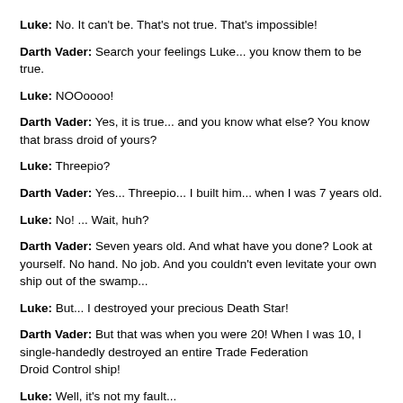Luke: No. It can't be. That's not true. That's impossible!
Darth Vader: Search your feelings Luke... you know them to be true.
Luke: NOOoooo!
Darth Vader: Yes, it is true... and you know what else? You know that brass droid of yours?
Luke: Threepio?
Darth Vader: Yes... Threepio... I built him... when I was 7 years old.
Luke: No! ... Wait, huh?
Darth Vader: Seven years old. And what have you done? Look at yourself. No hand. No job. And you couldn't even levitate your own ship out of the swamp...
Luke: But... I destroyed your precious Death Star!
Darth Vader: But that was when you were 20! When I was 10, I single-handedly destroyed an entire Trade Federation Droid Control ship!
Luke: Well, it's not my fault...
Darth Vader: Oh, here we go... "Poor me... my father never gave me what I wanted for my birthday... boo hoo, my daddy's the Dark Lord of the Sith... Nobody loved me and I had kids!!"